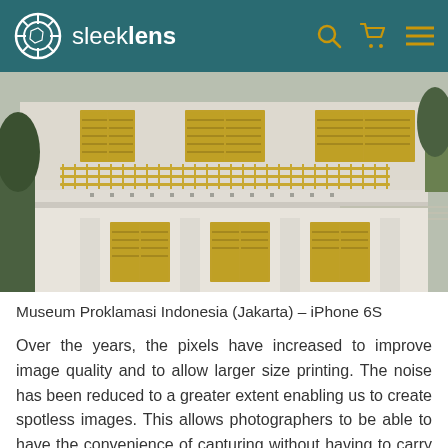sleeklens
[Figure (photo): Exterior of Museum Proklamasi Indonesia in Jakarta, a white colonial-style two-story building with golden-yellow shuttered windows and decorative iron railings on the balcony, photographed with iPhone 6S]
Museum Proklamasi Indonesia (Jakarta) – iPhone 6S
Over the years, the pixels have increased to improve image quality and to allow larger size printing. The noise has been reduced to a greater extent enabling us to create spotless images. This allows photographers to be able to have the convenience of capturing without having to carry their heavy gears. Currently, smartphone companies are starting to create smartphone cameras with dual cameras whereby one camera would have higher specifications enabling to take even greater